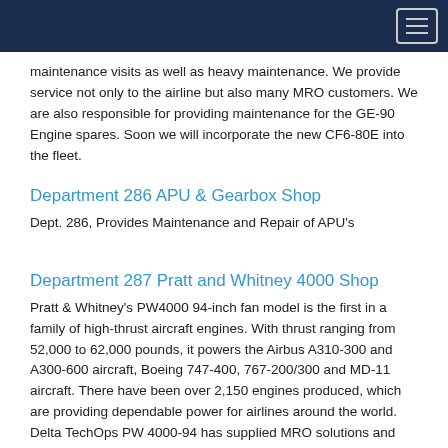maintenance visits as well as heavy maintenance. We provide service not only to the airline but also many MRO customers. We are also responsible for providing maintenance for the GE-90 Engine spares. Soon we will incorporate the new CF6-80E into the fleet.
Department 286 APU & Gearbox Shop
Dept. 286, Provides Maintenance and Repair of APU's
Department 287 Pratt and Whitney 4000 Shop
Pratt & Whitney's PW4000 94-inch fan model is the first in a family of high-thrust aircraft engines. With thrust ranging from 52,000 to 62,000 pounds, it powers the Airbus A310-300 and A300-600 aircraft, Boeing 747-400, 767-200/300 and MD-11 aircraft. There have been over 2,150 engines produced, which are providing dependable power for airlines around the world. Delta TechOps PW 4000-94 has supplied MRO solutions and